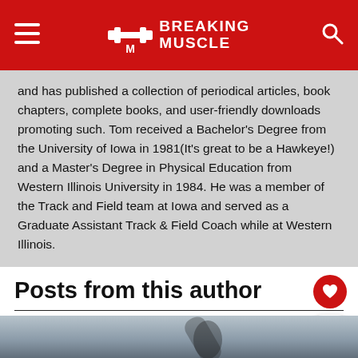BREAKING MUSCLE
and has published a collection of periodical articles, book chapters, complete books, and user-friendly downloads promoting such. Tom received a Bachelor's Degree from the University of Iowa in 1981(It's great to be a Hawkeye!) and a Master's Degree in Physical Education from Western Illinois University in 1984. He was a member of the Track and Field team at Iowa and served as a Graduate Assistant Track & Field Coach while at Western Illinois.
Posts from this author
[Figure (photo): Partial view of a person raising their arm, against a blurred background]
[Figure (screenshot): Advertisement bar showing 'Thank you' with flag imagery and 'Operation Gratitude' logo on dark background]